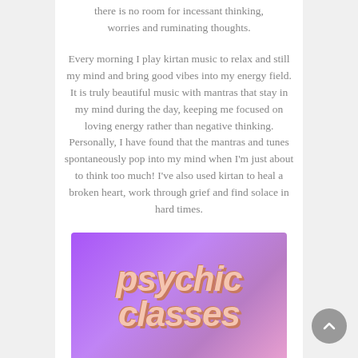there is no room for incessant thinking, worries and ruminating thoughts.
Every morning I play kirtan music to relax and still my mind and bring good vibes into my energy field. It is truly beautiful music with mantras that stay in my mind during the day, keeping me focused on loving energy rather than negative thinking. Personally, I have found that the mantras and tunes spontaneously pop into my mind when I'm just about to think too much! I've also used kirtan to heal a broken heart, work through grief and find solace in hard times.
[Figure (illustration): Purple gradient background with stylized retro script text reading 'psychic classes' in cream/peach color with shadow effect]